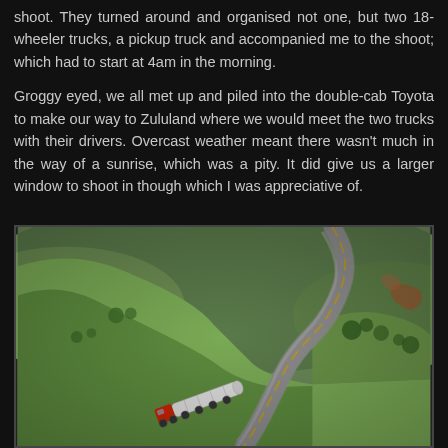shoot. They turned around and organised not one, but two 18-wheeler trucks, a pickup truck and accompanied me to the shoot; which had to start at 4am in the morning.
Groggy eyed, we all met up and piled into the double-cab Toyota to make our way to Zululand where we would meet the two trucks with their drivers. Overcast weather meant there wasn't much in the way of a sunrise, which was a pity. It did give us a larger window to shoot in though which I was appreciative of.
[Figure (photo): Aerial view of a winding road through lush green Zululand hills with a large white 18-wheeler tanker truck driving along the road in the lower left portion of the image.]